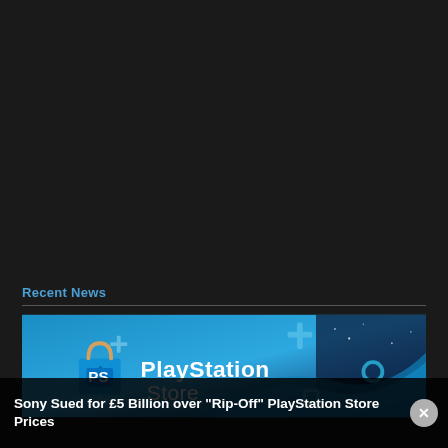Recent News
[Figure (photo): PlayStation Store promotional banner with blue gradient background, PlayStation symbols (cross, circle, square, triangle), and the PlayStation Store logo with shopping bag icon]
Sony Sued for £5 Billion over "Rip-Off" PlayStation Store Prices